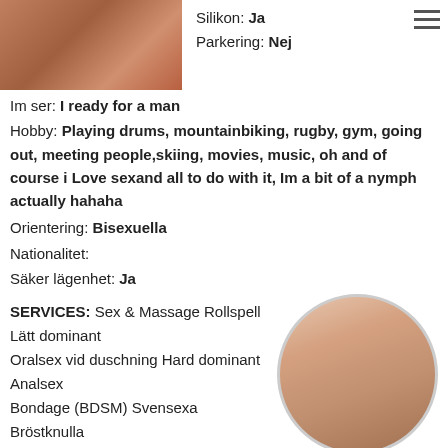[Figure (photo): Partial photo of a person, top portion visible at top-left]
Silikon: Ja
Parkering: Nej
Im ser: I ready for a man
Hobby: Playing drums, mountainbiking, rugby, gym, going out, meeting people,skiing, movies, music, oh and of course i Love sexand all to do with it, Im a bit of a nymph actually hahaha
Orientering: Bisexuella
Nationalitet:
Säker lägenhet: Ja
SERVICES: Sex & Massage Rollspell Lätt dominant Oralsex vid duschning Hard dominant Analsex Bondage (BDSM) Svensexa Bröstknulla Kyss Fotfetisch Prostatemassage Anal s Duscha tillsammans COB (komma på k Sexiga underkläder
[Figure (photo): Circular cropped photo of a person, positioned at lower right]